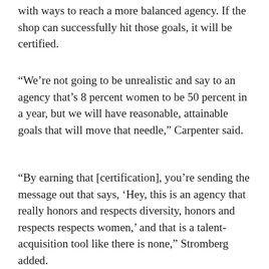with ways to reach a more balanced agency. If the shop can successfully hit those goals, it will be certified.
“We’re not going to be unrealistic and say to an agency that’s 8 percent women to be 50 percent in a year, but we will have reasonable, attainable goals that will move that needle,” Carpenter said.
“By earning that [certification], you’re sending the message out that says, ‘Hey, this is an agency that really honors and respects diversity, honors and respects respects women,’ and that is a talent-acquisition tool like there is none,” Stromberg added.